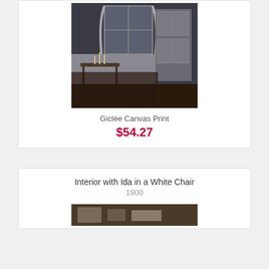[Figure (photo): Painting of a dim interior room with a window with curtains, a door, and a small table with candlesticks on a dark wooden floor.]
Giclée Canvas Print
$54.27
Interior with Ida in a White Chair
1900
[Figure (photo): Partial view of another painting showing a dark interior scene.]